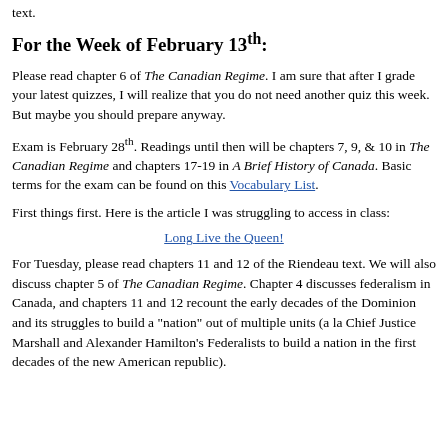text.
For the Week of February 13th:
Please read chapter 6 of The Canadian Regime. I am sure that after I grade your latest quizzes, I will realize that you do not need another quiz this week. But maybe you should prepare anyway.
Exam is February 28th. Readings until then will be chapters 7, 9, & 10 in The Canadian Regime and chapters 17-19 in A Brief History of Canada. Basic terms for the exam can be found on this Vocabulary List.
First things first. Here is the article I was struggling to access in class:
Long Live the Queen!
For Tuesday, please read chapters 11 and 12 of the Riendeau text. We will also discuss chapter 5 of The Canadian Regime. Chapter 4 discusses federalism in Canada, and chapters 11 and 12 recount the early decades of the Dominion and its struggles to build a "nation" out of multiple units (a la Chief Justice Marshall and Alexander Hamilton's Federalists to build a nation in the first decades of the new American republic).